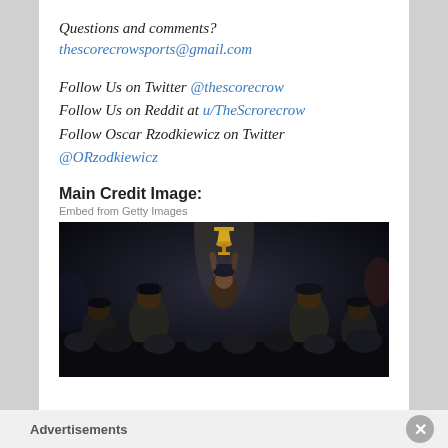Questions and comments?
thescorecrowsports@gmail.com
Follow Us on Twitter @thescorecrow
Follow Us on Reddit at u/TheScrorecrow
Follow Oscar Rzodkiewicz on Twitter @ORzodkiewicz
Main Credit Image:
Embed from Getty Images
[Figure (photo): Basketball celebration photo showing players holding up a trophy, crowd scene at night]
Advertisements